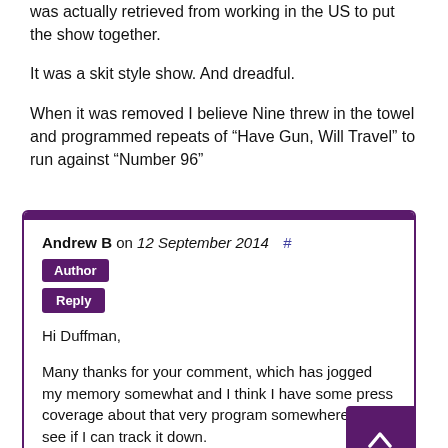was actually retrieved from working in the US to put the show together.
It was a skit style show. And dreadful.
When it was removed I believe Nine threw in the towel and programmed repeats of “Have Gun, Will Travel” to run against “Number 96”
Andrew B on 12 September 2014 #
Author
Reply
Hi Duffman,
Many thanks for your comment, which has jogged my memory somewhat and I think I have some press coverage about that very program somewhere. I’ll see if I can track it down.